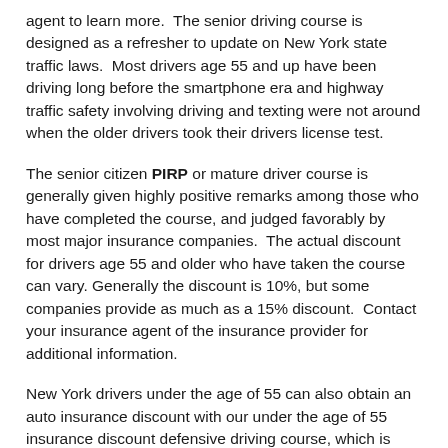agent to learn more.  The senior driving course is designed as a refresher to update on New York state traffic laws.  Most drivers age 55 and up have been driving long before the smartphone era and highway traffic safety involving driving and texting were not around when the older drivers took their drivers license test.
The senior citizen PIRP or mature driver course is generally given highly positive remarks among those who have completed the course, and judged favorably by most major insurance companies.  The actual discount for drivers age 55 and older who have taken the course can vary. Generally the discount is 10%, but some companies provide as much as a 15% discount.  Contact your insurance agent of the insurance provider for additional information.
New York drivers under the age of 55 can also obtain an auto insurance discount with our under the age of 55 insurance discount defensive driving course, which is commonly known as the P.I.R.P. or Point and Insurance Reduction Program.   Check with your insurance company for more details.